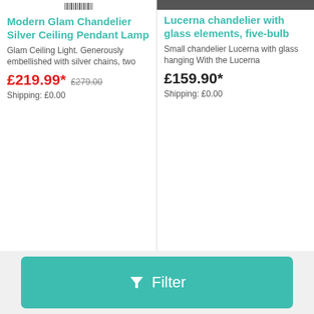[Figure (photo): Partial barcode/product image at top of first card]
Modern Glam Chandelier Silver Ceiling Pendant Lamp
Glam Ceiling Light. Generously embellished with silver chains, two
£219.99* £279.00
Shipping: £0.00
[Figure (photo): Partial product image at top of second card]
Lucerna chandelier with glass elements, five-bulb
Small chandelier Lucerna with glass hanging With the Lucerna
£159.90*
Shipping: £0.00
Ashwell Chandelier Ceiling Light, Brown, One Size
[Figure (photo): Photo of Argos Home Inspire 5 Light Chandelier in clear/crystal style]
Argos Home Inspire 5 Light Chandelier - Clear
Filter